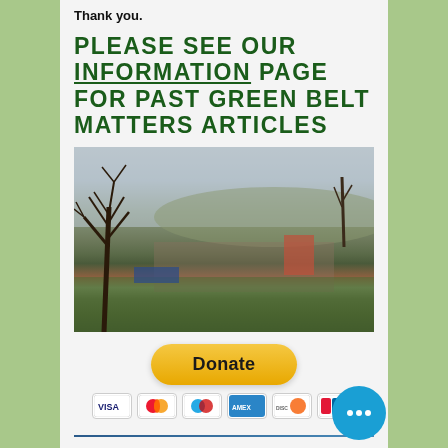Thank you.
PLEASE SEE OUR INFORMATION PAGE FOR PAST GREEN BELT MATTERS ARTICLES
[Figure (photo): Wide landscape photograph showing a green belt area with bare winter trees in the foreground left, residential housing and a red barn in the middle distance, and hills under a cloudy sky in the background.]
[Figure (screenshot): PayPal Donate button with yellow rounded pill shape, followed by a row of credit card icons: Visa, Mastercard, Maestro, American Express, Discover, UnionPay.]
Follow us on Facebook, Instagram and Twitter to help us raise awareness and find out more of what we are